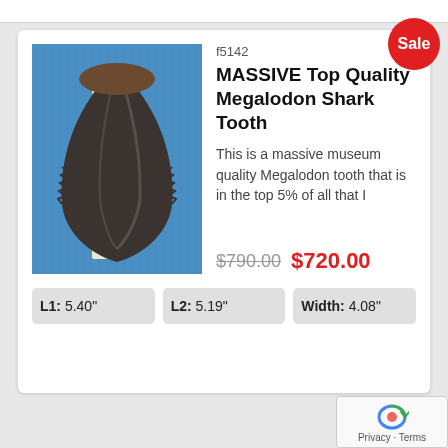[Figure (photo): Large dark grey Megalodon shark tooth photographed on blue fabric background next to a ruler showing approximately 5 inches]
f5142
MASSIVE Top Quality Megalodon Shark Tooth
This is a massive museum quality Megalodon tooth that is in the top 5% of all that I
$790.00  $720.00
L1: 5.40"
L2: 5.19"
Width: 4.08"